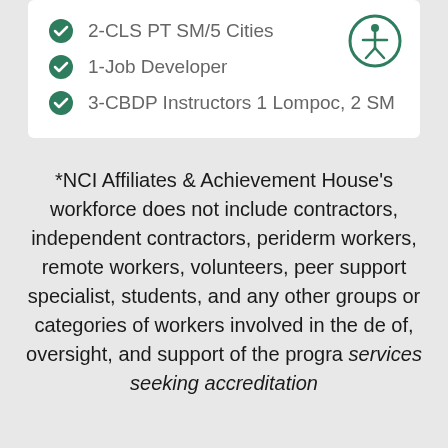2-CLS PT SM/5 Cities
1-Job Developer
3-CBDP Instructors 1 Lompoc, 2 SM
*NCI Affiliates & Achievement House's workforce does not include contractors, independent contractors, periderm workers, remote workers, volunteers, peer support specialist, students, and any other groups or categories of workers involved in the de of, oversight, and support of the progra services seeking accreditation